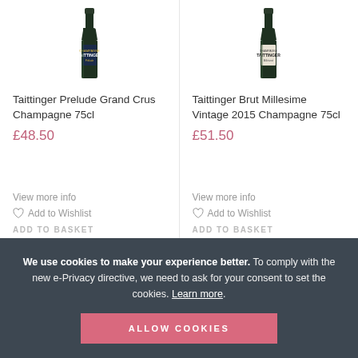[Figure (photo): Taittinger Prelude Grand Crus Champagne bottle (dark green, tall)]
[Figure (photo): Taittinger Brut Millesime Vintage 2015 Champagne bottle (dark green, tall)]
Taittinger Prelude Grand Crus Champagne 75cl
£48.50
View more info
Add to Wishlist
ADD TO BASKET
Taittinger Brut Millesime Vintage 2015 Champagne 75cl
£51.50
View more info
Add to Wishlist
ADD TO BASKET
We use cookies to make your experience better. To comply with the new e-Privacy directive, we need to ask for your consent to set the cookies. Learn more.
ALLOW COOKIES